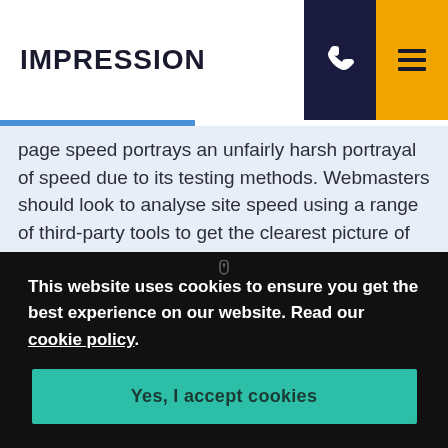IMPRESSION
page speed portrays an unfairly harsh portrayal of speed due to its testing methods. Webmasters should look to analyse site speed using a range of third-party tools to get the clearest picture of the priority site speed issues to tackle.
The second major update to Search Console was its
This website uses cookies to ensure you get the best experience on our website. Read our cookie policy.
Yes, I accept cookies